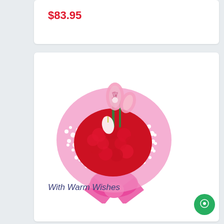$83.95
[Figure (photo): Flower bouquet with red carnations, pink lilies, white baby's breath, wrapped in pink packaging with a pink ribbon]
With Warm Wishes